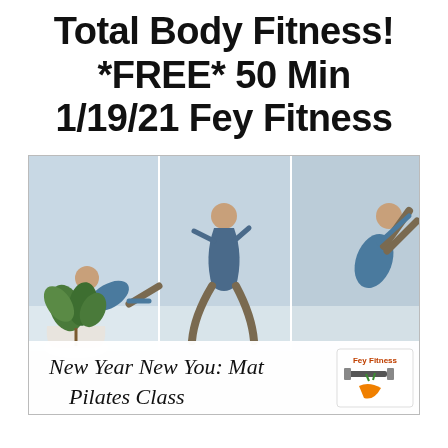Total Body Fitness! *FREE* 50 Min 1/19/21 Fey Fitness
[Figure (photo): Three-panel photo of a woman performing Pilates poses on a mat, with a potted plant in the lower left. Overlay text reads 'New Year New You: Mat Pilates Class' with Fey Fitness logo.]